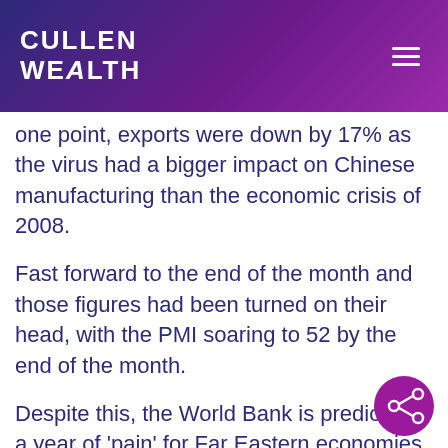Cullen Wealth
one point, exports were down by 17% as the virus had a bigger impact on Chinese manufacturing than the economic crisis of 2008.
Fast forward to the end of the month and those figures had been turned on their head, with the PMI soaring to 52 by the end of the month.
Despite this, the World Bank is predicting a year of 'pain' for Far Eastern economies. The Bank is now